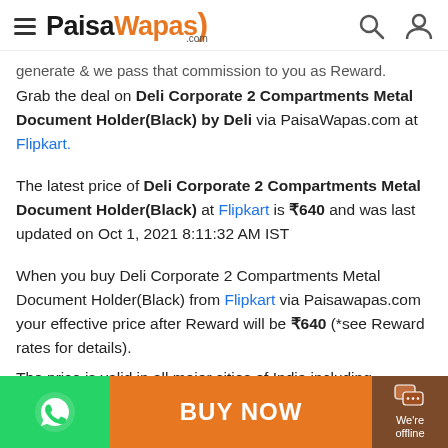PaisaWapas.com
generate & we pass that commission to you as Reward. Grab the deal on Deli Corporate 2 Compartments Metal Document Holder(Black) by Deli via PaisaWapas.com at Flipkart.
The latest price of Deli Corporate 2 Compartments Metal Document Holder(Black) at Flipkart is ₹640 and was last updated on Oct 1, 2021 8:11:32 AM IST
When you buy Deli Corporate 2 Compartments Metal Document Holder(Black) from Flipkart via Paisawapas.com your effective price after Reward will be ₹640 (*see Reward rates for details).
The price is valid in all major cities of India including
BUY NOW